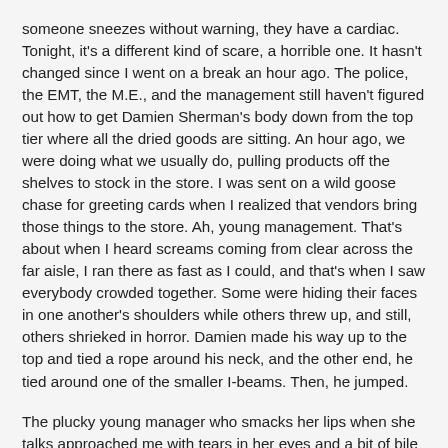someone sneezes without warning, they have a cardiac. Tonight, it's a different kind of scare, a horrible one. It hasn't changed since I went on a break an hour ago. The police, the EMT, the M.E., and the management still haven't figured out how to get Damien Sherman's body down from the top tier where all the dried goods are sitting. An hour ago, we were doing what we usually do, pulling products off the shelves to stock in the store. I was sent on a wild goose chase for greeting cards when I realized that vendors bring those things to the store. Ah, young management. That's about when I heard screams coming from clear across the far aisle, I ran there as fast as I could, and that's when I saw everybody crowded together. Some were hiding their faces in one another's shoulders while others threw up, and still, others shrieked in horror. Damien made his way up to the top and tied a rope around his neck, and the other end, he tied around one of the smaller I-beams. Then, he jumped.
The plucky young manager who smacks her lips when she talks approached me with tears in her eyes and a bit of bile on her cheeks. "Go take your break, papa,"